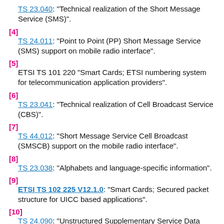TS 23.040: "Technical realization of the Short Message Service (SMS)".
[4]
    TS 24.011: "Point to Point (PP) Short Message Service (SMS) support on mobile radio interface".
[5]
    ETSI TS 101 220 "Smart Cards; ETSI numbering system for telecommunication application providers".
[6]
    TS 23.041: "Technical realization of Cell Broadcast Service (CBS)".
[7]
    TS 44.012: "Short Message Service Cell Broadcast (SMSCB) support on the mobile radio interface".
[8]
    TS 23.038: "Alphabets and language-specific information".
[9]
    ETSI TS 102 225 V12.1.0: "Smart Cards; Secured packet structure for UICC based applications".
[10]
    TS 24.090: "Unstructured Supplementary Service Data (USSD) - Stage